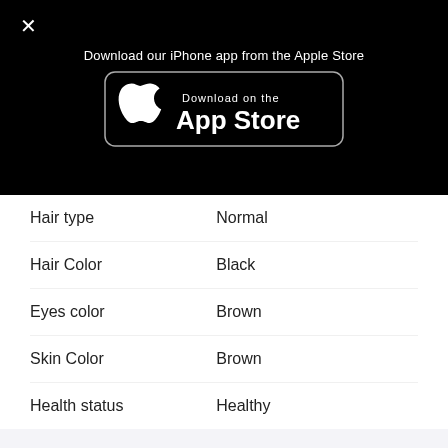[Figure (screenshot): Black modal overlay with X close button, text 'Download our iPhone app from the Apple Store', and an App Store download badge button.]
Hair type: Normal
Hair Color: Black
Eyes color: Brown
Skin Color: Brown
Health status: Healthy
Religion
Religiosity: Not care